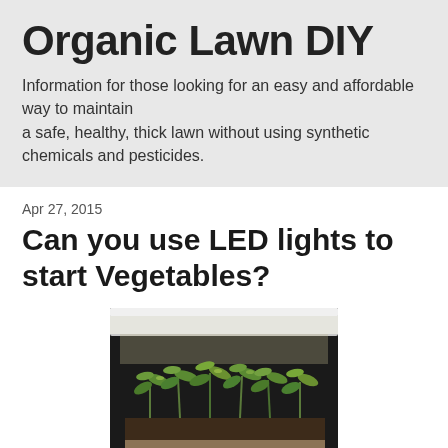Organic Lawn DIY
Information for those looking for an easy and affordable way to maintain a safe, healthy, thick lawn without using synthetic chemicals and pesticides.
Apr 27, 2015
Can you use LED lights to start Vegetables?
[Figure (photo): Photo of vegetable seedlings growing under an LED light panel. Small green plants with multiple leaves are visible in a tray under a bright white LED grow light fixture.]